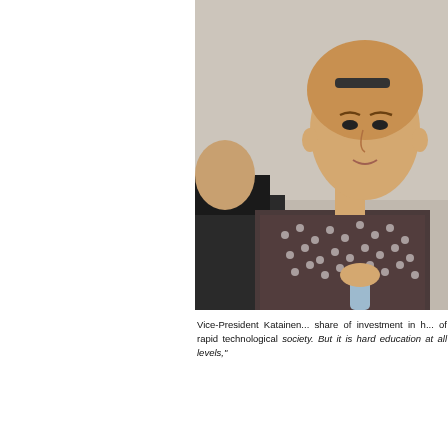[Figure (photo): Photo of a woman (Vice-President Katainen) in a patterned blazer holding a water bottle, standing next to a man in a dark suit, against a beige/grey wall background.]
Vice-President Katainen... share of investment in h... of rapid technological society. But it is hard education at all levels,"